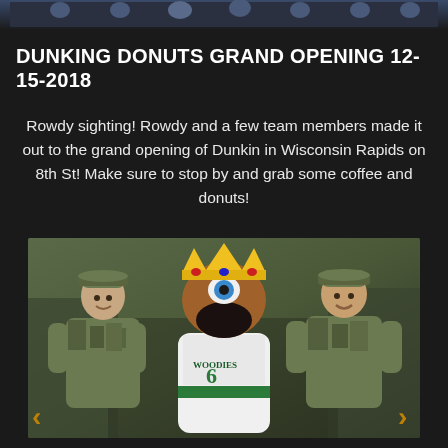[Figure (photo): Top image strip showing a group photo banner at the top of the page]
DUNKING DONUTS GRAND OPENING 12-15-2018
Rowdy sighting! Rowdy and a few team members made it out to the grand opening of Dunkin in Wisconsin Rapids on 8th St! Make sure to stop by and grab some coffee and donuts!
[Figure (photo): Photo of two soldiers in camouflage uniforms standing on either side of Rowdy, a sports team mascot (a fish/walleye character) wearing a jersey with number 6, at the Dunkin grand opening in Wisconsin Rapids]